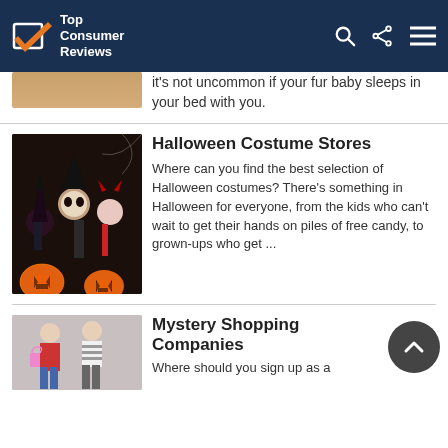Top Consumer Reviews
it's not uncommon if your fur baby sleeps in your bed with you.
Halloween Costume Stores
Where can you find the best selection of Halloween costumes? There's something in Halloween for everyone, from the kids who can't wait to get their hands on piles of free candy, to grown-ups who get ...
Mystery Shopping Companies
Where should you sign up as a